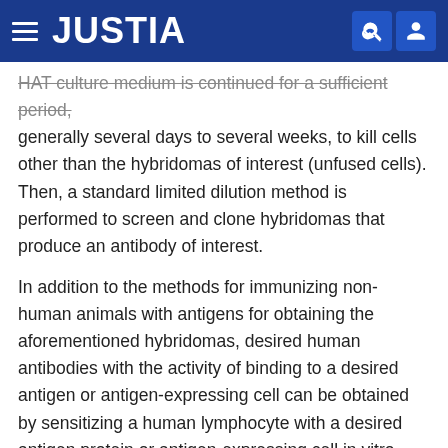JUSTIA
HAT culture medium is continued for a sufficient period, generally several days to several weeks, to kill cells other than the hybridomas of interest (unfused cells). Then, a standard limited dilution method is performed to screen and clone hybridomas that produce an antibody of interest.
In addition to the methods for immunizing non-human animals with antigens for obtaining the aforementioned hybridomas, desired human antibodies with the activity of binding to a desired antigen or antigen-expressing cell can be obtained by sensitizing a human lymphocyte with a desired antigen protein or antigen-expressing cell in vitro, and fusing the sensitized B lymphocyte with a human myeloma cell (e.g., U266) (see, Japanese Patent Application Kokoku Publication No. (JP-B) Hei 1-59878 (examined, approved Japanese patent application published for opposition)). Further, a desired human